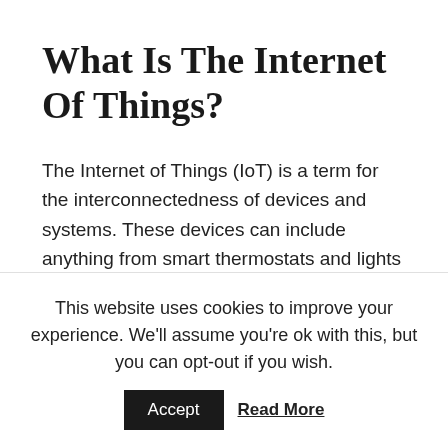What Is The Internet Of Things?
The Internet of Things (IoT) is a term for the interconnectedness of devices and systems. These devices can include anything from smart thermostats and lights to interconnected vehicles and industrial equipment.
IoT devices are connected to the internet and can
This website uses cookies to improve your experience. We'll assume you're ok with this, but you can opt-out if you wish.
Accept   Read More